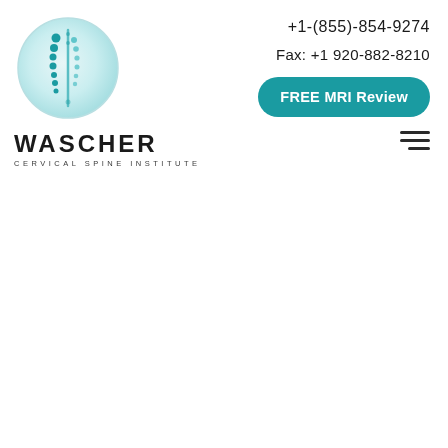[Figure (logo): Wascher Cervical Spine Institute logo: a circle with a light blue/teal gradient background containing a stylized spine illustration made of teal dots/vertebrae]
WASCHER
CERVICAL SPINE INSTITUTE
+1-(855)-854-9274
Fax: +1 920-882-8210
FREE MRI Review